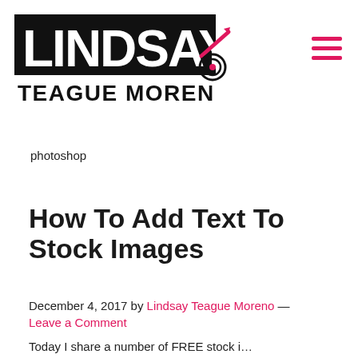[Figure (logo): Lindsay Teague Moreno logo — black rectangle with white bold text 'LINDSAY' on top, 'TEAGUE MORENO' below in black bold text, with a pink target/bullseye icon on the letter O in MORENO and a pink pencil graphic]
photoshop
How To Add Text To Stock Images
December 4, 2017 by Lindsay Teague Moreno — Leave a Comment
Today I share a number of FREE stock i…